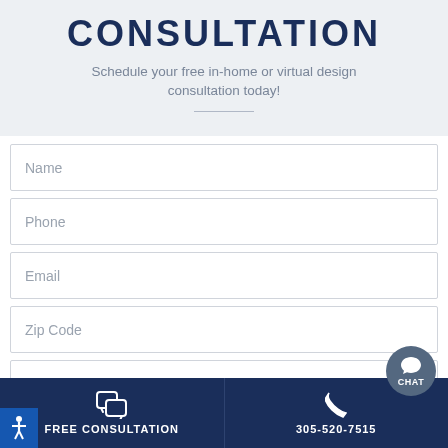CONSULTATION
Schedule your free in-home or virtual design consultation today!
Name
Phone
Email
Zip Code
FREE CONSULTATION  305-520-7515  CHAT